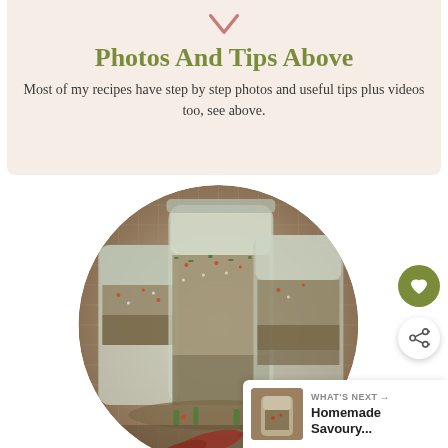Photos And Tips Above
Most of my recipes have step by step photos and useful tips plus videos too, see above.
[Figure (photo): Circular cropped photo of glass jars filled with herb and spice seasoning mix, with dried chili peppers on a burlap surface]
WHAT'S NEXT → Homemade Savoury...